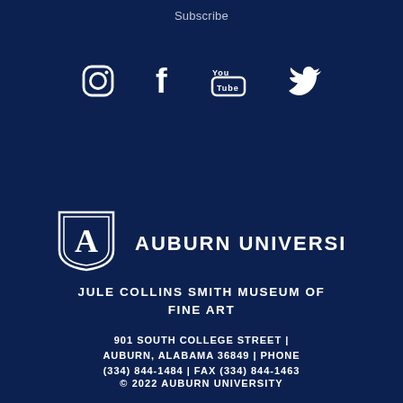Subscribe
[Figure (illustration): Social media icons: Instagram, Facebook, YouTube, Twitter on dark blue background]
[Figure (logo): Auburn University logo with AU shield and text AUBURN UNIVERSITY in white on dark navy background]
JULE COLLINS SMITH MUSEUM OF FINE ART
901 SOUTH COLLEGE STREET | AUBURN, ALABAMA 36849 | PHONE (334) 844-1484 | FAX (334) 844-1463
© 2022 AUBURN UNIVERSITY